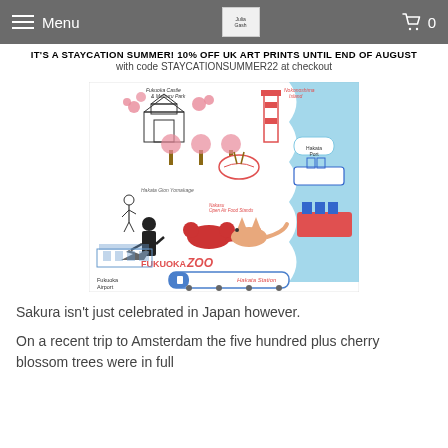Menu  [logo]  0
IT'S A STAYCATION SUMMER! 10% OFF UK ART PRINTS UNTIL END OF AUGUST
with code STAYCATIONSUMMER22 at checkout
[Figure (illustration): Illustrated map/art print of Fukuoka, Japan, featuring Fukuoka Castle & Maizuru Park, Nokonoshima Island, Hakata Port, Nakasu Open Air Food Stands, Fukuoka Zoo with red panda and fox, Fukuoka Airport, Hakata Station, and surrounding scenic elements in red, blue and black line-art style.]
Sakura isn't just celebrated in Japan however.
On a recent trip to Amsterdam the five hundred plus cherry blossom trees were in full